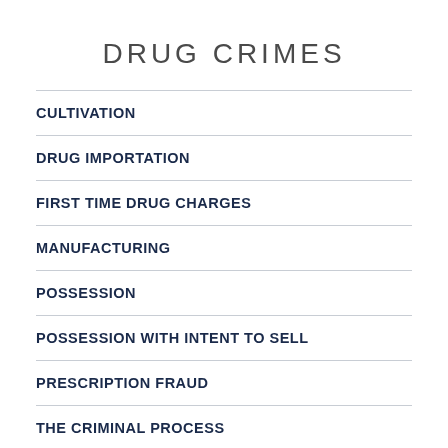DRUG CRIMES
CULTIVATION
DRUG IMPORTATION
FIRST TIME DRUG CHARGES
MANUFACTURING
POSSESSION
POSSESSION WITH INTENT TO SELL
PRESCRIPTION FRAUD
THE CRIMINAL PROCESS
TRAFFICKING